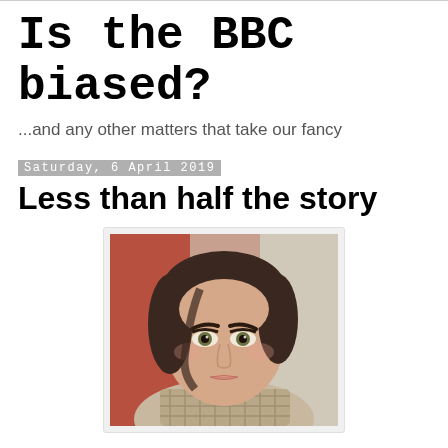Is the BBC biased?
...and any other matters that take our fancy
Saturday, 6 April 2019
Less than half the story
[Figure (photo): Close-up selfie photograph of a young woman with dark hair pulled back, wearing a checked/houndstooth scarf, looking directly at the camera with a slight smile. Background shows blurred colorful surroundings.]